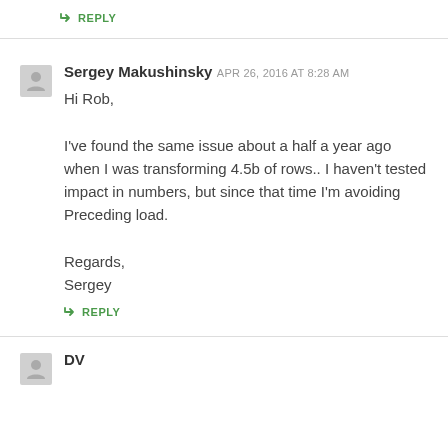↳ REPLY
Sergey Makushinsky
APR 26, 2016 AT 8:28 AM
Hi Rob,

I've found the same issue about a half a year ago when I was transforming 4.5b of rows.. I haven't tested impact in numbers, but since that time I'm avoiding Preceding load.

Regards,
Sergey
↳ REPLY
DV